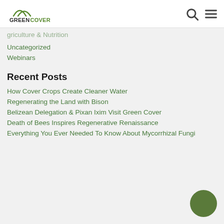GreenCover
Uncategorized
Webinars
Recent Posts
How Cover Crops Create Cleaner Water
Regenerating the Land with Bison
Belizean Delegation & Pixan Ixim Visit Green Cover
Death of Bees Inspires Regenerative Renaissance
Everything You Ever Needed To Know About Mycorrhizal Fungi